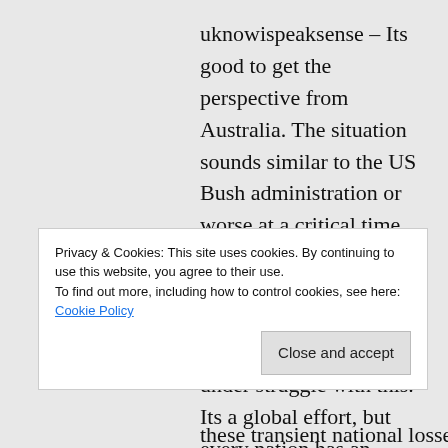uknowispeaksense – Its good to get the perspective from Australia. The situation sounds similar to the US Bush administration or worse at a critical time. Its tough to live through that. My sympathies. I have heard many good bloggers from down under struggle with this. Its a global effort, but every nation has an effect. One that stands out is how extreme the administration is. It would be almost as if
Privacy & Cookies: This site uses cookies. By continuing to use this website, you agree to their use.
To find out more, including how to control cookies, see here: Cookie Policy
these transient national losses